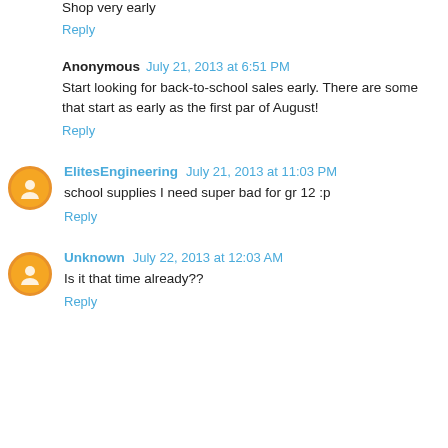Shop very early
Reply
Anonymous  July 21, 2013 at 6:51 PM
Start looking for back-to-school sales early. There are some that start as early as the first par of August!
Reply
ElitesEngineering  July 21, 2013 at 11:03 PM
school supplies I need super bad for gr 12 :p
Reply
Unknown  July 22, 2013 at 12:03 AM
Is it that time already??
Reply